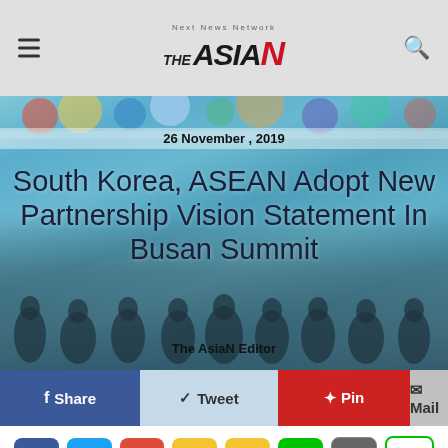Next News Network THE ASIAN
[Figure (photo): Group photo of leaders at ASEAN-Korea Summit in Busan, with colorful decorative backdrop]
26 November , 2019
South Korea, ASEAN Adopt New Partnership Vision Statement In Busan Summit
The AsiaN Editor
f Share   Tweet   Pin   Mail
[Figure (infographic): Social media sharing icons row: Facebook, Twitter, Google+, Vine, Chat, LINE, BAND, Blog]